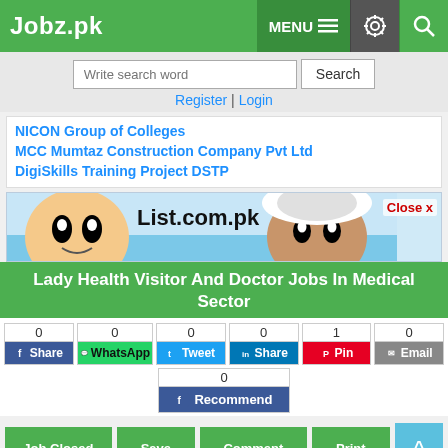Jobz.pk | MENU | [settings] [search]
Write search word | Search
Register | Login
NICON Group of Colleges
MCC Mumtaz Construction Company Pvt Ltd
DigiSkills Training Project DSTP
[Figure (screenshot): List.com.pk advertisement banner with cartoon characters]
Lady Health Visitor And Doctor Jobs In Medical Sector
0 Share | 0 WhatsApp | 0 Tweet | 0 Share | 1 Pin | 0 Email | 0 Recommend
Job Closed | Save | Comment | Print | ^